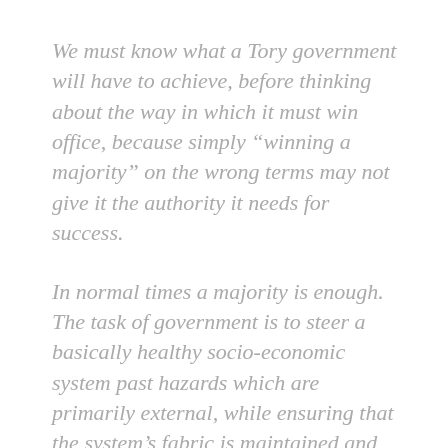We must know what a Tory government will have to achieve, before thinking about the way in which it must win office, because simply “winning a majority” on the wrong terms may not give it the authority it needs for success.
In normal times a majority is enough. The task of government is to steer a basically healthy socio-economic system past hazards which are primarily external, while ensuring that the system’s fabric is maintained and making improvements to it here and there.